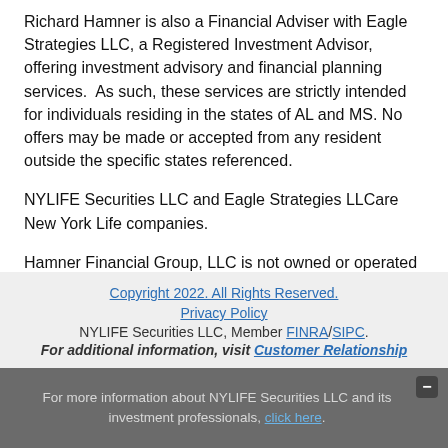Richard Hamner is also a Financial Adviser with Eagle Strategies LLC, a Registered Investment Advisor, offering investment advisory and financial planning services.  As such, these services are strictly intended for individuals residing in the states of AL and MS. No offers may be made or accepted from any resident outside the specific states referenced.
NYLIFE Securities LLC and Eagle Strategies LLCare New York Life companies.
Hamner Financial Group, LLC is not owned or operated by NYLIFE Securities LLC or its affiliates.
Copyright 2022. All Rights Reserved.
Privacy Policy
NYLIFE Securities LLC, Member FINRA/SIPC.
For additional information, visit Customer Relationship
For more information about NYLIFE Securities LLC and its investment professionals, click here.